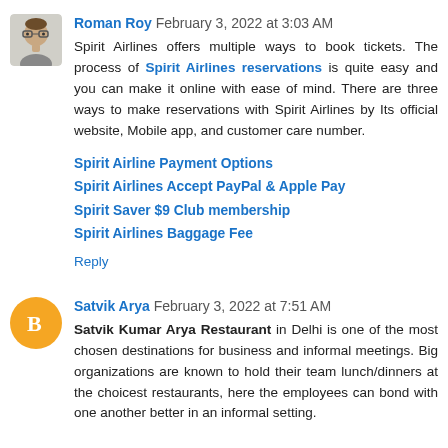Roman Roy  February 3, 2022 at 3:03 AM
Spirit Airlines offers multiple ways to book tickets. The process of Spirit Airlines reservations is quite easy and you can make it online with ease of mind. There are three ways to make reservations with Spirit Airlines by Its official website, Mobile app, and customer care number.
Spirit Airline Payment Options
Spirit Airlines Accept PayPal & Apple Pay
Spirit Saver $9 Club membership
Spirit Airlines Baggage Fee
Reply
Satvik Arya  February 3, 2022 at 7:51 AM
Satvik Kumar Arya Restaurant in Delhi is one of the most chosen destinations for business and informal meetings. Big organizations are known to hold their team lunch/dinners at the choicest restaurants, here the employees can bond with one another better in an informal setting.